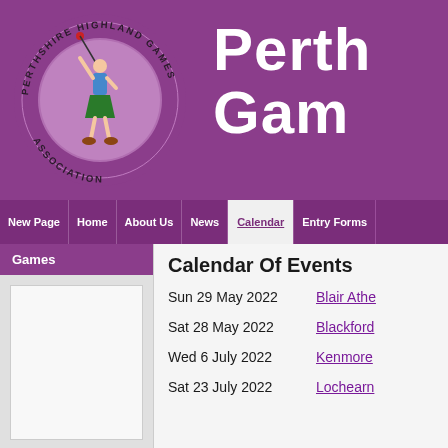[Figure (logo): Perthshire Highland Games Association circular logo showing a highland games athlete throwing a hammer, with text around the circle reading 'PERTHSHIRE HIGHLAND GAMES ASSOCIATION']
Perth
Gam
New Page | Home | About Us | News | Calendar | Entry Forms
Games
Calendar Of Events
Sun 29 May 2022	Blair Athe...
Sat 28 May 2022	Blackford...
Wed 6 July 2022	Kenmore...
Sat 23 July 2022	Lochearn...